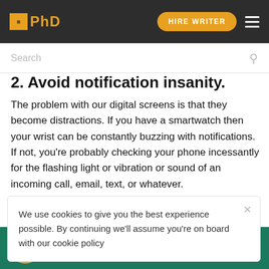EPhD | HIRE WRITER
Search
2. Avoid notification insanity.
The problem with our digital screens is that they become distractions. If you have a smartwatch then your wrist can be constantly buzzing with notifications. If not, you're probably checking your phone incessantly for the flashing light or vibration or sound of an incoming call, email, text, or whatever.
We use cookies to give you the best experience possible. By continuing we'll assume you're on board with our cookie policy
Let's say, for example, you get a new work email once
HIRE WRITER